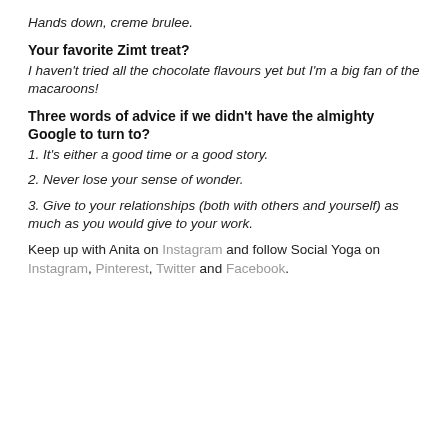Hands down, creme brulee.
Your favorite Zimt treat?
I haven’t tried all the chocolate flavours yet but I’m a big fan of the macaroons!
Three words of advice if we didn’t have the almighty Google to turn to?
1. It’s either a good time or a good story.
2. Never lose your sense of wonder.
3. Give to your relationships (both with others and yourself) as much as you would give to your work.
Keep up with Anita on Instagram and follow Social Yoga on Instagram, Pinterest, Twitter and Facebook.